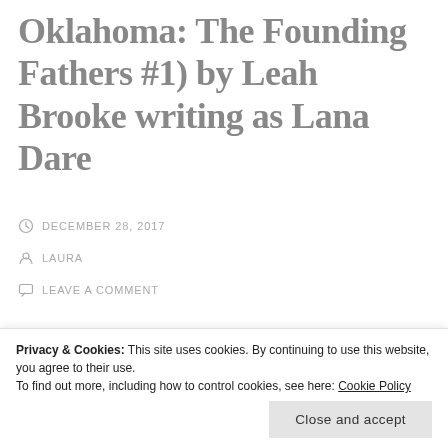Oklahoma: The Founding Fathers #1) by Leah Brooke writing as Lana Dare
DECEMBER 28, 2017
LAURA
LEAVE A COMMENT
[Figure (illustration): Book cover banner for Leah Brooke / Siren Publishing showing a romantic couple in warm tones with 'Leah Brooke' text overlay and Siren Publishing logo on the left side.]
Privacy & Cookies: This site uses cookies. By continuing to use this website, you agree to their use.
To find out more, including how to control cookies, see here: Cookie Policy
Close and accept